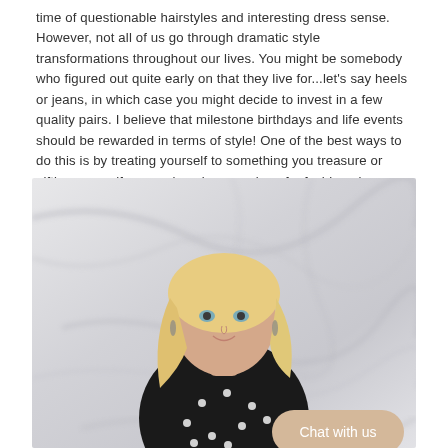time of questionable hairstyles and interesting dress sense. However, not all of us go through dramatic style transformations throughout our lives. You might be somebody who figured out quite early on that they live for...let's say heels or jeans, in which case you might decide to invest in a few quality pairs. I believe that milestone birthdays and life events should be rewarded in terms of style! One of the best ways to do this is by treating yourself to something you treasure or gifting yourself a more luxurious version of a fashion piece you've always adored!
[Figure (photo): A blonde woman smiling, wearing a black polka-dot turtleneck top, standing in front of a marble-textured background. A beige 'Chat with us' button is overlaid in the bottom right corner.]